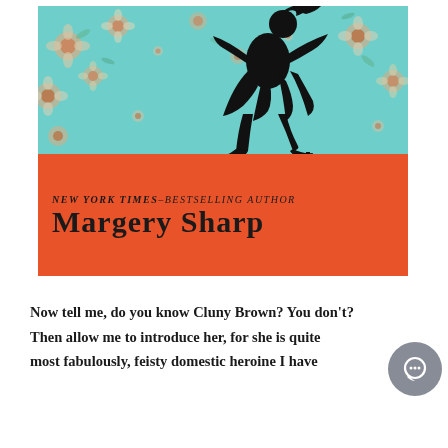[Figure (illustration): Book cover for Margery Sharp. Top half: teal/turquoise background with floral pattern and black silhouette of a woman in a dress walking. Bottom half: orange/red background with text 'NEW YORK TIMES–BESTSELLING AUTHOR' in small italic caps and 'MARGERY SHARP' in large bold serif font.]
Now tell me, do you know Cluny Brown? You don't? Then allow me to introduce her, for she is quite most fabulously, feisty domestic heroine I have